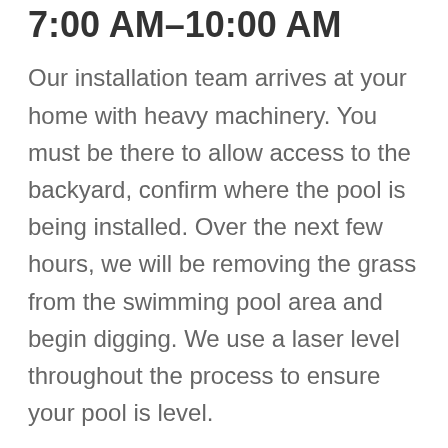7:00 AM–10:00 AM
Our installation team arrives at your home with heavy machinery. You must be there to allow access to the backyard, confirm where the pool is being installed. Over the next few hours, we will be removing the grass from the swimming pool area and begin digging. We use a laser level throughout the process to ensure your pool is level.
10:00 AM–12:00 PM
Your hole should be dug at this point, and a flatbed truck carrying the pool will arrive at your home. Please be sure we have…